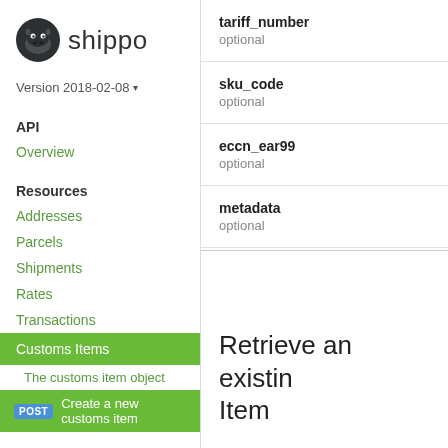[Figure (logo): Shippo logo: dark hippo icon and 'shippo' wordmark]
Version 2018-02-08 ▾
API
Overview
Resources
Addresses
Parcels
Shipments
Rates
Transactions
Customs Items
The customs item object
POST  Create a new customs item
tariff_number
optional
sku_code
optional
eccn_ear99
optional
metadata
optional
Retrieve an existing Customs Item
Retrieve an existing Custom...